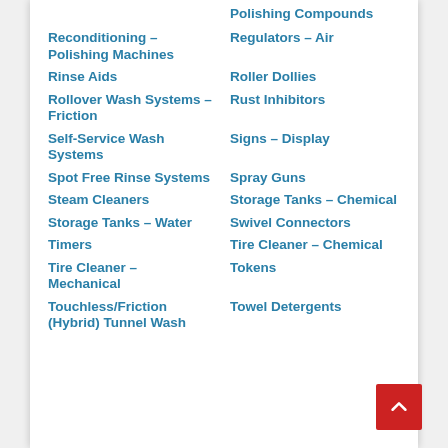Polishing Compounds
Reconditioning – Polishing Machines
Regulators – Air
Rinse Aids
Roller Dollies
Rollover Wash Systems – Friction
Rust Inhibitors
Self-Service Wash Systems
Signs – Display
Spot Free Rinse Systems
Spray Guns
Steam Cleaners
Storage Tanks – Chemical
Storage Tanks – Water
Swivel Connectors
Timers
Tire Cleaner – Chemical
Tire Cleaner – Mechanical
Tokens
Touchless/Friction (Hybrid) Tunnel Wash
Towel Detergents